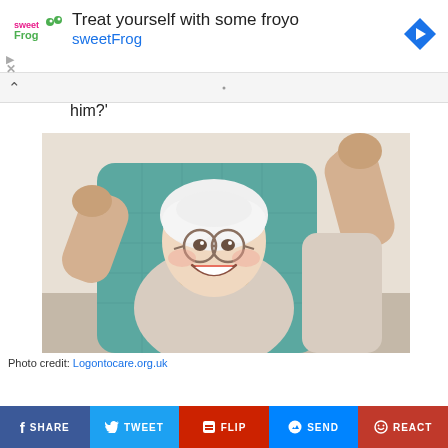[Figure (screenshot): SweetFrog frozen yogurt advertisement banner with logo, text 'Treat yourself with some froyo sweetFrog', and a blue navigation arrow icon]
him?'
[Figure (photo): Elderly woman with white hair and glasses sitting in a teal chair, raising both fists in celebration and smiling broadly]
Photo credit: Logontocare.org.uk
SHARE  TWEET  FLIP  SEND  REACT